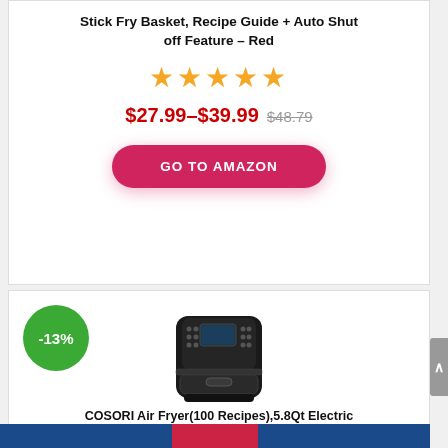Stick Fry Basket, Recipe Guide + Auto Shut off Feature – Red
[Figure (infographic): Five orange star rating icons]
$27.99–$39.99 $48.79
GO TO AMAZON
[Figure (photo): Black COSORI air fryer with digital display panel, with a green -13% discount badge overlay in the top left]
COSORI Air Fryer(100 Recipes),5.8Qt Electric Hot Air Fryers XL Oilless Cooker II